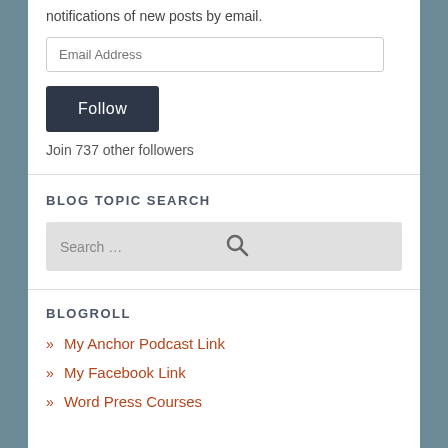notifications of new posts by email.
Email Address
Follow
Join 737 other followers
BLOG TOPIC SEARCH
Search …
BLOGROLL
» My Anchor Podcast Link
» My Facebook Link
» Word Press Courses